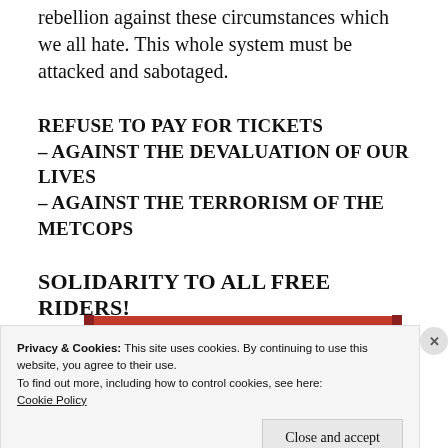rebellion against these circumstances which we all hate. This whole system must be attacked and sabotaged.
REFUSE TO PAY FOR TICKETS
– AGAINST THE DEVALUATION OF OUR LIVES
– AGAINST THE TERRORISM OF THE METCOPS
SOLIDARITY TO ALL FREE RIDERS!
[Figure (screenshot): Red banner with 'Start reading' button in dark overlay]
Privacy & Cookies: This site uses cookies. By continuing to use this website, you agree to their use.
To find out more, including how to control cookies, see here: Cookie Policy
Close and accept